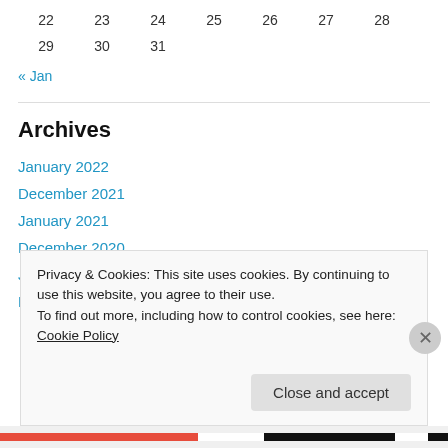| 22 | 23 | 24 | 25 | 26 | 27 | 28 |
| 29 | 30 | 31 |  |  |  |  |
« Jan
Archives
January 2022
December 2021
January 2021
December 2020
June 2020
May 2020
Privacy & Cookies: This site uses cookies. By continuing to use this website, you agree to their use. To find out more, including how to control cookies, see here: Cookie Policy
Close and accept